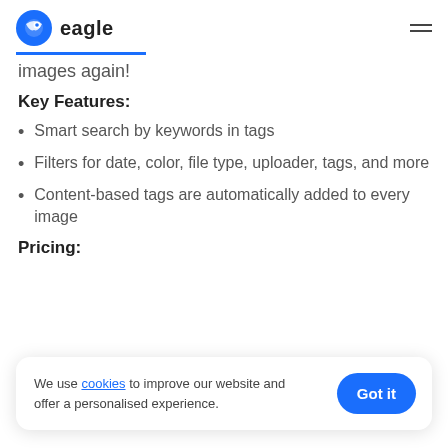eagle
images again!
Key Features:
Smart search by keywords in tags
Filters for date, color, file type, uploader, tags, and more
Content-based tags are automatically added to every image
Pricing:
We use cookies to improve our website and offer a personalised experience.